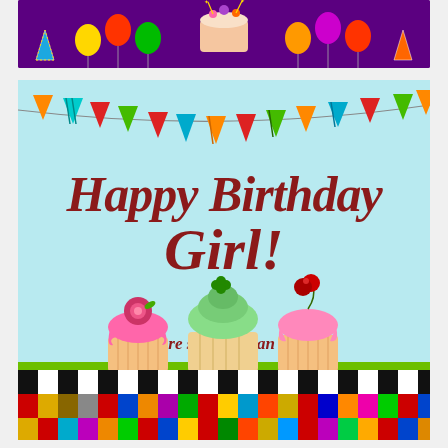[Figure (illustration): Top birthday banner with purple background, colorful balloons, party hats, and a decorated birthday cake with sparklers in the center]
[Figure (illustration): Birthday card with light blue background featuring colorful bunting flags across the top, large script text reading 'Happy Birthday Girl!', italic message 'You are sweeter than sugar and more precious than any pearl.', three illustrated cupcakes at bottom, and colorful chevron pattern border at base]